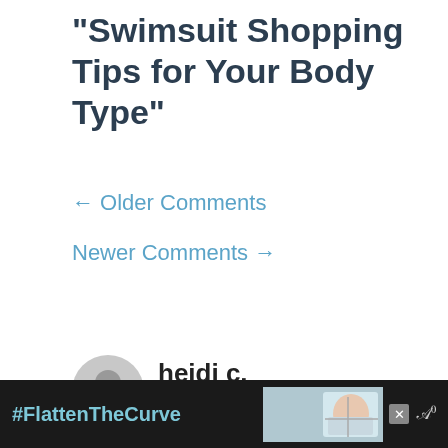“Swimsuit Shopping Tips for Your Body Type”
← Older Comments
Newer Comments →
heidi c.
July 19, 2014 at 7:35 pm
[Figure (other): Advertisement banner at bottom: black background with #FlattenTheCurve text in blue, handwashing image, close button, and Mw logo]
[Figure (other): Gray user avatar circle icon for commenter heidi c.]